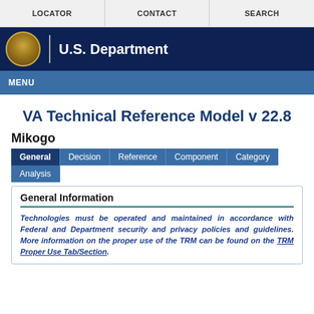LOCATOR | CONTACT | SEARCH
[Figure (logo): U.S. Department of Veterans Affairs seal and header logo with dark navy background]
MENU
VA Technical Reference Model v 22.8
Mikogo
General | Decision | Reference | Component | Category | Analysis tabs
General Information
Technologies must be operated and maintained in accordance with Federal and Department security and privacy policies and guidelines. More information on the proper use of the TRM can be found on the TRM Proper Use Tab/Section.